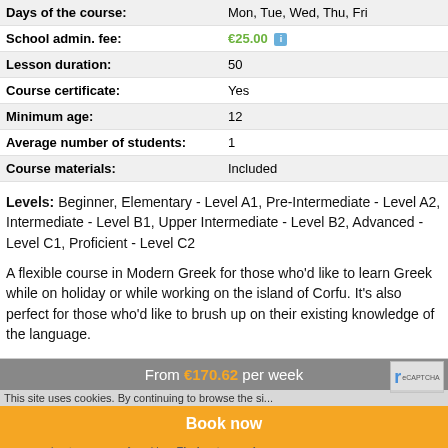| Days of the course: | Mon, Tue, Wed, Thu, Fri |
| School admin. fee: | €25.00 |
| Lesson duration: | 50 |
| Course certificate: | Yes |
| Minimum age: | 12 |
| Average number of students: | 1 |
| Course materials: | Included |
Levels: Beginner, Elementary - Level A1, Pre-Intermediate - Level A2, Intermediate - Level B1, Upper Intermediate - Level B2, Advanced - Level C1, Proficient - Level C2
A flexible course in Modern Greek for those who'd like to learn Greek while on holiday or while working on the island of Corfu. It's also perfect for those who'd like to brush up on their existing knowledge of the language.
From €170.62 per week
Book now
This site uses cookies. By continuing to browse the site you are agreeing to our use of cookies. Find out more here